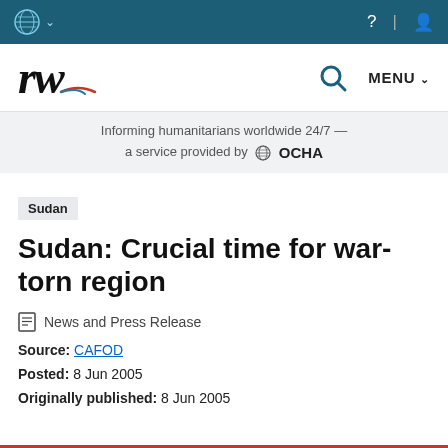UN logo navigation bar with help, language, and user icons
rw — ReliefWeb logo, search icon, MENU
Informing humanitarians worldwide 24/7 — a service provided by OCHA
Sudan
Sudan: Crucial time for war-torn region
News and Press Release
Source: CAFOD
Posted: 8 Jun 2005
Originally published: 8 Jun 2005